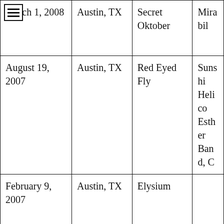| Date | Location | Venue | Acts (truncated) |
| --- | --- | --- | --- |
| March 1, 2008 | Austin, TX | Secret Oktober | Mirabil… |
| August 19, 2007 | Austin, TX | Red Eyed Fly | Sunshi… Helico… Esther … Band, C… |
| February 9, 2007 | Austin, TX | Elysium |  |
| November 24, 2006 | Austin, TX | Elysium | Attriti… Blue St… subNat… |
|  |  |  | Voltair… |